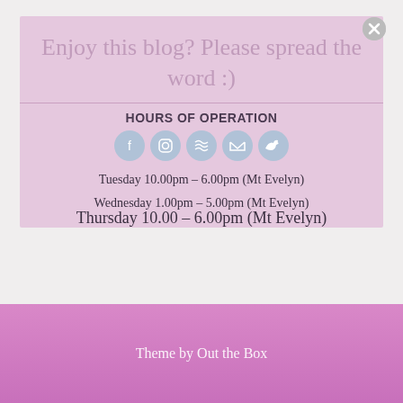Enjoy this blog? Please spread the word :)
HOURS OF OPERATION
Tuesday 10.00pm – 6.00pm (Mt Evelyn)
Wednesday 1.00pm – 5.00pm (Mt Evelyn)
Thursday 10.00 – 6.00pm (Mt Evelyn)
Theme by Out the Box